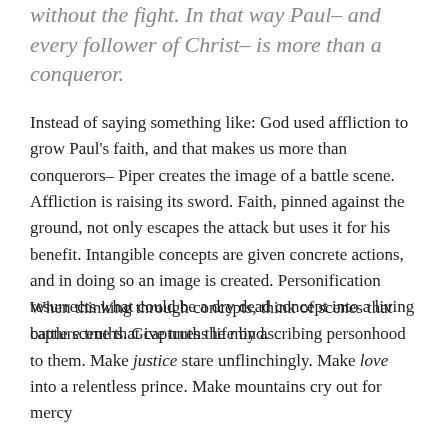without the fight. In that way Paul– and every follower of Christ– is more than a conqueror.
Instead of saying something like: God used affliction to grow Paul's faith, and that makes us more than conquerors– Piper creates the image of a battle scene. Affliction is raising its sword. Faith, pinned against the ground, not only escapes the attack but uses it for his benefit. Intangible concepts are given concrete actions, and in doing so an image is created. Personification resurrects what could be a dry dead concept into a living battle scene that captures the mind.
When thinking through concepts, think of scenes that capture truths. Give truths life by ascribing personhood to them. Make justice stare unflinchingly. Make love into a relentless prince. Make mountains cry out for mercy